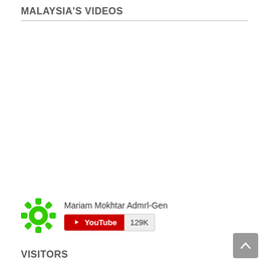MALAYSIA'S VIDEOS
[Figure (other): YouTube channel widget showing a green gear icon, the name 'Mariam Mokhtar Admrl-Gen', a red YouTube subscribe button, and a subscriber count of 129K]
VISITORS